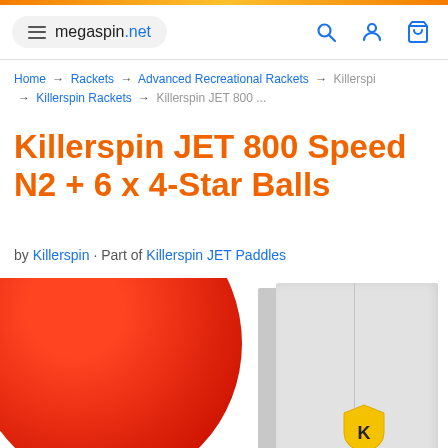megaspin.net
Home → Rackets → Advanced Recreational Rackets → Killerspi → Killerspin Rackets → Killerspin JET 800 ...
Killerspin JET 800 Speed N2 + 6 x 4-Star Balls
by Killerspin · Part of Killerspin JET Paddles
[Figure (photo): Product photo showing a red table tennis paddle face and white Killerspin product packaging box with Killerspin logo]